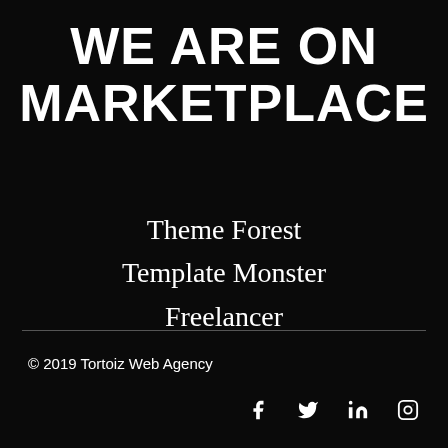WE ARE ON MARKETPLACE
Theme Forest
Template Monster
Freelancer
© 2019 Tortoiz Web Agency
[Figure (illustration): Social media icons: Facebook, Twitter, LinkedIn, Instagram]